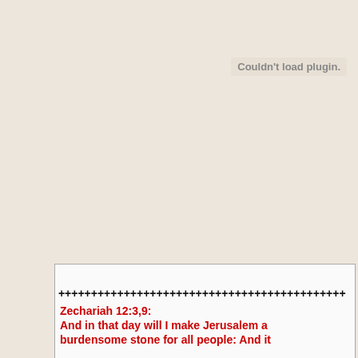Couldn't load plugin.
++++++++++++++++++++++++++++++++++++++++++++
Zechariah 12:3,9:
And in that day will I make Jerusalem a burdensome stone for all people: And it